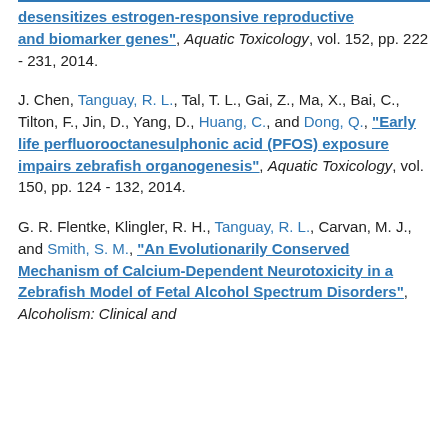desensitizes estrogen-responsive reproductive and biomarker genes", Aquatic Toxicology, vol. 152, pp. 222 - 231, 2014.
J. Chen, Tanguay, R. L., Tal, T. L., Gai, Z., Ma, X., Bai, C., Tilton, F., Jin, D., Yang, D., Huang, C., and Dong, Q., "Early life perfluorooctanesulphonic acid (PFOS) exposure impairs zebrafish organogenesis", Aquatic Toxicology, vol. 150, pp. 124 - 132, 2014.
G. R. Flentke, Klingler, R. H., Tanguay, R. L., Carvan, M. J., and Smith, S. M., "An Evolutionarily Conserved Mechanism of Calcium-Dependent Neurotoxicity in a Zebrafish Model of Fetal Alcohol Spectrum Disorders", Alcoholism: Clinical and